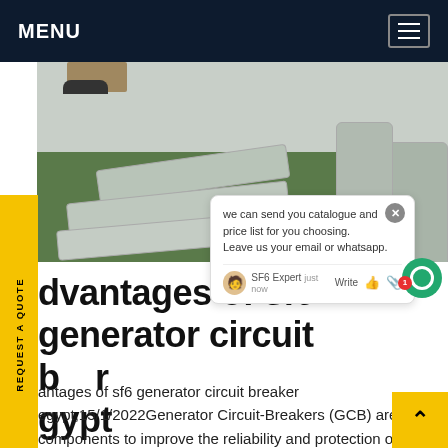MENU
[Figure (photo): Outdoor photo showing SF6 gas cylinders/pipes laid on grass near a pavement area, with a person's feet visible at top.]
dvantages of sf6 generator circuit breaker egypt
antages of sf6 generator circuit breaker egypt,15/1/2022Generator Circuit-Breakers (GCB) are key components to improve the reliability and protection of your paramount power unit equipment such as generators and step-up transformers. Their